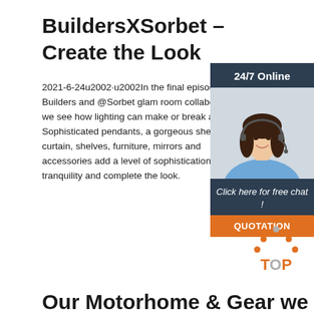BuildersXSorbet – Create the Look
2021-6-24u2002·u2002In the final episode of the Builders and @Sorbet glam room collaboration, we see how lighting can make or break a room. Sophisticated pendants, a gorgeous sheer curtain, shelves, furniture, mirrors and accessories add a level of sophistication, tranquility and complete the look.
[Figure (illustration): 24/7 Online chat widget with a woman wearing headset, and a QUOTATION button]
[Figure (logo): TOP arrow logo icon in orange and gray]
Our Motorhome & Gear we